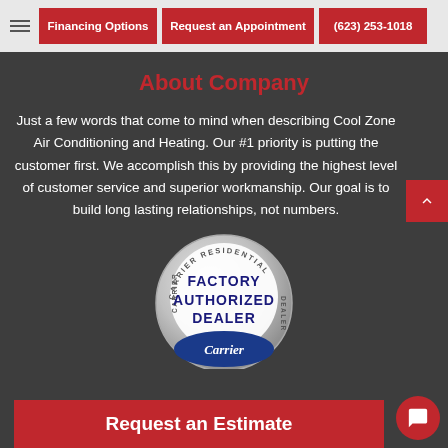Financing Options | Request an Appointment | (623) 253-1018
About Company
Just a few words that come to mind when describing Cool Zone Air Conditioning and Heating. Our #1 priority is putting the customer first. We accomplish this by providing the highest level of customer service and superior workmanship. Our goal is to build long lasting relationships, not numbers.
[Figure (logo): Carrier Residential Factory Authorized Dealer badge - circular silver medallion with Carrier logo oval at bottom]
Request an Estimate